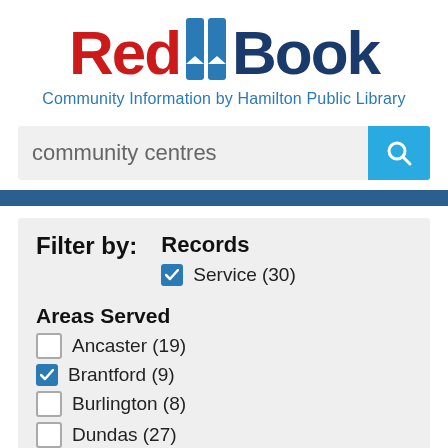[Figure (logo): Red Book logo — 'Red' in bold red text, a blue bookmark icon, 'Book' in bold dark blue text]
Community Information by Hamilton Public Library
community centres
Filter by:
Records
Service (30)
Areas Served
Ancaster (19)
Brantford (9)
Burlington (8)
Dundas (27)
Flamborough (12)